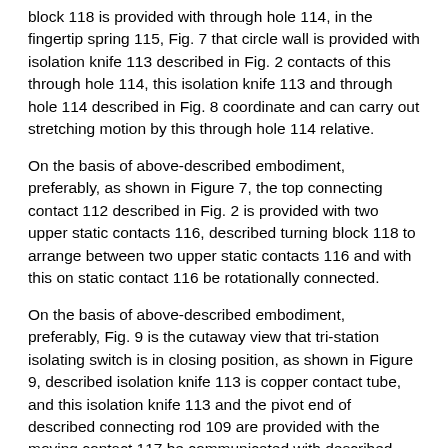block 118 is provided with through hole 114, in the fingertip spring 115, Fig. 7 that circle wall is provided with isolation knife 113 described in Fig. 2 contacts of this through hole 114, this isolation knife 113 and through hole 114 described in Fig. 8 coordinate and can carry out stretching motion by this through hole 114 relative.
On the basis of above-described embodiment, preferably, as shown in Figure 7, the top connecting contact 112 described in Fig. 2 is provided with two upper static contacts 116, described turning block 118 to arrange between two upper static contacts 116 and with this on static contact 116 be rotationally connected.
On the basis of above-described embodiment, preferably, Fig. 9 is the cutaway view that tri-station isolating switch is in closing position, as shown in Figure 9, described isolation knife 113 is copper contact tube, and this isolation knife 113 and the pivot end of described connecting rod 109 are provided with the moving contact 117 be communicated with described closing position contact 110, ground connection position contact 111.
On the basis of above-described embodiment, preferably,